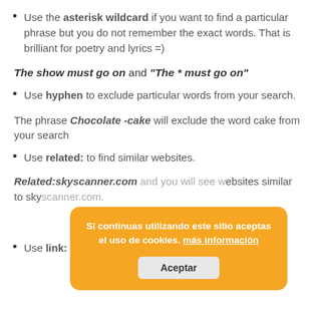Use the asterisk wildcard if you want to find a particular phrase but you do not remember the exact words. That is brilliant for poetry and lyrics =)
The show must go on and "The * must go on"
Use hyphen to exclude particular words from your search.
The phrase Chocolate -cake will exclude the word cake from your search
Use related: to find similar websites.
Related:skyscanner.com and you will see websites similar to skyscanner.com.
Use link: to find a page that links to a particular website.
[Figure (screenshot): Cookie consent popup overlay with orange background. Text: 'Si continuas utilizando este sitio aceptas el uso de cookies. más información' with an 'Aceptar' button.]